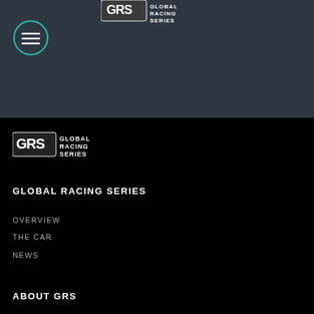[Figure (logo): GRS Global Racing Series logo at top center, white on dark background]
[Figure (illustration): Hamburger menu icon — three horizontal lines inside a teal circle outline]
[Figure (logo): GRS Global Racing Series logo in white on black background, left aligned]
GLOBAL RACING SERIES
OVERVIEW
THE CAR
NEWS
ABOUT GRS